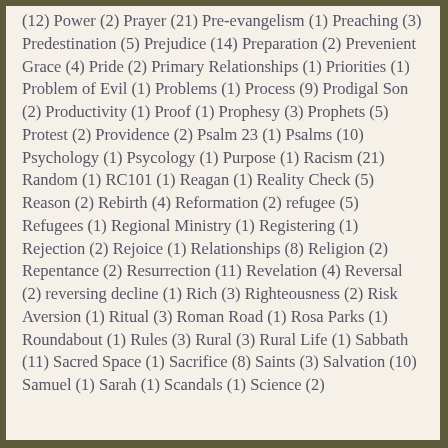(12) Power (2) Prayer (21) Pre-evangelism (1) Preaching (3) Predestination (5) Prejudice (14) Preparation (2) Prevenient Grace (4) Pride (2) Primary Relationships (1) Priorities (1) Problem of Evil (1) Problems (1) Process (9) Prodigal Son (2) Productivity (1) Proof (1) Prophesy (3) Prophets (5) Protest (2) Providence (2) Psalm 23 (1) Psalms (10) Psychology (1) Psycology (1) Purpose (1) Racism (21) Random (1) RC101 (1) Reagan (1) Reality Check (5) Reason (2) Rebirth (4) Reformation (2) refugee (5) Refugees (1) Regional Ministry (1) Registering (1) Rejection (2) Rejoice (1) Relationships (8) Religion (2) Repentance (2) Resurrection (11) Revelation (4) Reversal (2) reversing decline (1) Rich (3) Righteousness (2) Risk Aversion (1) Ritual (3) Roman Road (1) Rosa Parks (1) Roundabout (1) Rules (3) Rural (3) Rural Life (1) Sabbath (11) Sacred Space (1) Sacrifice (8) Saints (3) Salvation (10) Samuel (1) Sarah (1) Scandals (1) Science (2)